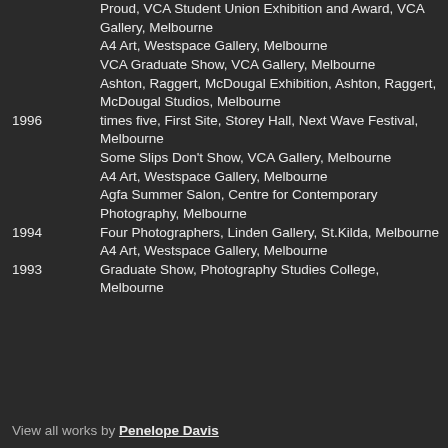Proud, VCA Student Union Exhibition and Award, VCA Gallery, Melbourne
A4 Art, Westspace Gallery, Melbourne
VCA Graduate Show, VCA Gallery, Melbourne
Ashton, Raggert, McDougal Exhibition, Ashton, Raggert, McDougal Studios, Melbourne
1996 — times five, First Site, Storey Hall, Next Wave Festival, Melbourne
Some Slips Don't Show, VCA Gallery, Melbourne
A4 Art, Westspace Gallery, Melbourne
Agfa Summer Salon, Centre for Contemporary Photography, Melbourne
1994 — Four Photographers, Linden Gallery, St.Kilda, Melbourne
A4 Art, Westspace Gallery, Melbourne
1993 — Graduate Show, Photography Studies College, Melbourne
View all works by Penelope Davis